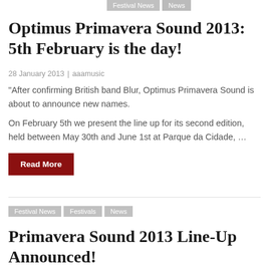Optimus Primavera Sound 2013: 5th February is the day!
28 January 2013 | aaamusic
“After confirming British band Blur, Optimus Primavera Sound is about to announce new names.
On February 5th we present the line up for its second edition, held between May 30th and June 1st at Parque da Cidade, …
Read More
Festival News  Festivals  News
Primavera Sound 2013 Line-Up Announced!
24 January 2013 | aaamusic
NICK CAVE & THE BAD SEEDS, PHOENIX, MY